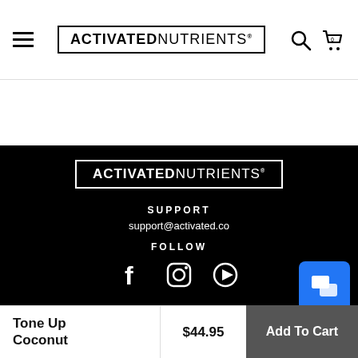[Figure (logo): Activated Nutrients logo in header, black text with border]
[Figure (logo): Activated Nutrients logo in footer, white text with white border on black background]
SUPPORT
support@activated.co
FOLLOW
[Figure (infographic): Social media icons: Facebook, Instagram, YouTube]
Tone Up Coconut
$44.95
Add To Cart